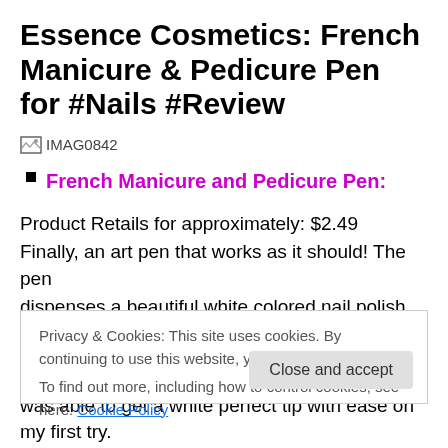Essence Cosmetics: French Manicure & Pedicure Pen for #Nails #Review
[Figure (photo): Broken image placeholder labeled IMAG0842]
French Manicure and Pedicure Pen:
Product Retails for approximately: $2.49
Finally, an art pen that works as it should! The pen dispenses a beautiful white colored nail polish, which dries
Privacy & Cookies: This site uses cookies. By continuing to use this website, you agree to their use.
To find out more, including how to control cookies, see here: Cookie Policy
was able to get a white perfect tip with ease on my first try.